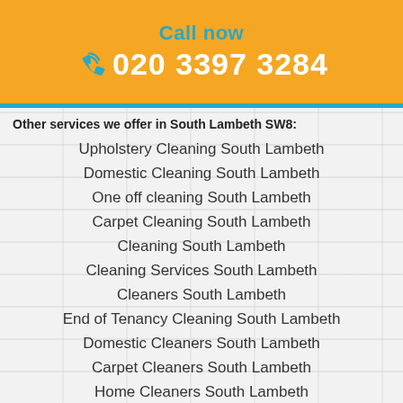[Figure (infographic): Yellow banner with phone icon, 'Call now' text in teal, and phone number '020 3397 3284' in white on yellow/orange background]
Other services we offer in South Lambeth SW8:
Upholstery Cleaning South Lambeth
Domestic Cleaning South Lambeth
One off cleaning South Lambeth
Carpet Cleaning South Lambeth
Cleaning South Lambeth
Cleaning Services South Lambeth
Cleaners South Lambeth
End of Tenancy Cleaning South Lambeth
Domestic Cleaners South Lambeth
Carpet Cleaners South Lambeth
Home Cleaners South Lambeth
Cleaner South Lambeth